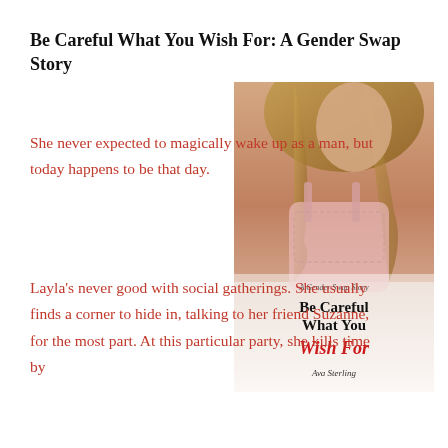Be Careful What You Wish For: A Gender Swap Story
[Figure (illustration): Book cover for 'Be Careful What You Wish For: A Gender Swap Story' by Ava Sterling. Shows a woman in pink lingerie on a bed. Title text overlaid on lower portion in bold black and red italic lettering.]
She never expected to magically wake up as a man, but today happens to be that day.
Layla's never good with social gatherings. She usually finds a corner to hide in, talking to her friend Suzanne, for the most part. At this particular party, she kills time by